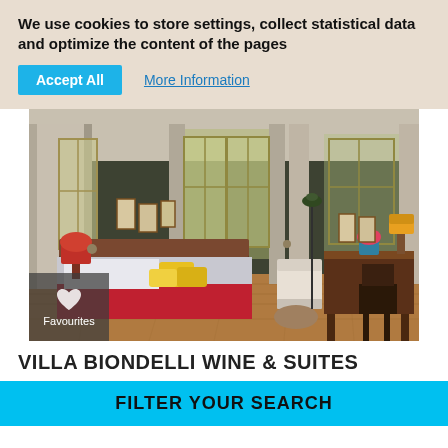We use cookies to store settings, collect statistical data and optimize the content of the pages
Accept All
More Information
[Figure (photo): Hotel bedroom interior with olive green walls, tall windows with beige curtains, a double bed with yellow cushions and red blanket, vintage desk and chair, lamps, wooden floor, framed pictures on walls.]
Favourites
VILLA BIONDELLI WINE & SUITES
FILTER YOUR SEARCH